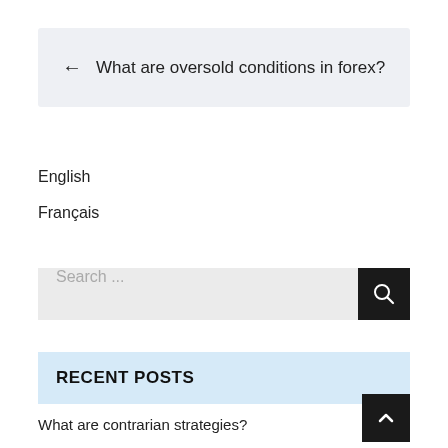← What are oversold conditions in forex?
English
Français
Search ...
RECENT POSTS
What are contrarian strategies?